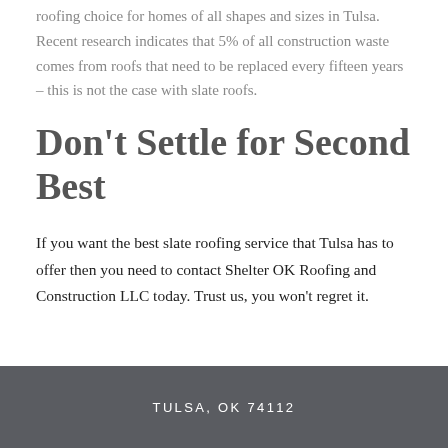roofing choice for homes of all shapes and sizes in Tulsa. Recent research indicates that 5% of all construction waste comes from roofs that need to be replaced every fifteen years – this is not the case with slate roofs.
Don't Settle for Second Best
If you want the best slate roofing service that Tulsa has to offer then you need to contact Shelter OK Roofing and Construction LLC today. Trust us, you won't regret it.
TULSA, OK 74112